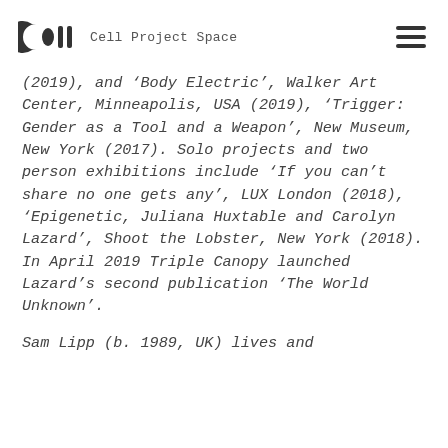Cell Project Space
(2019), and 'Body Electric', Walker Art Center, Minneapolis, USA (2019), 'Trigger: Gender as a Tool and a Weapon', New Museum, New York (2017). Solo projects and two person exhibitions include 'If you can't share no one gets any', LUX London (2018), 'Epigenetic, Juliana Huxtable and Carolyn Lazard', Shoot the Lobster, New York (2018). In April 2019 Triple Canopy launched Lazard's second publication 'The World Unknown'.
Sam Lipp (b. 1989, UK) lives and